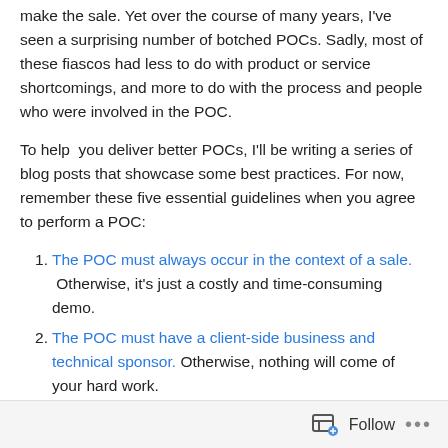make the sale. Yet over the course of many years, I've seen a surprising number of botched POCs. Sadly, most of these fiascos had less to do with product or service shortcomings, and more to do with the process and people who were involved in the POC.
To help you deliver better POCs, I'll be writing a series of blog posts that showcase some best practices. For now, remember these five essential guidelines when you agree to perform a POC:
The POC must always occur in the context of a sale. Otherwise, it's just a costly and time-consuming demo.
The POC must have a client-side business and technical sponsor. Otherwise, nothing will come of your hard work.
Follow ...